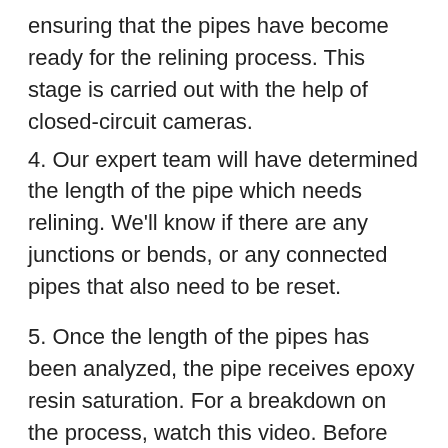ensuring that the pipes have become ready for the relining process. This stage is carried out with the help of closed-circuit cameras.
4. Our expert team will have determined the length of the pipe which needs relining. We'll know if there are any junctions or bends, or any connected pipes that also need to be reset.
5. Once the length of the pipes has been analyzed, the pipe receives epoxy resin saturation. For a breakdown on the process, watch this video. Before the process of curing gets completed, the inspection pits and junctions are cut. The process makes use of robotic cutters for removing junctions. However, grinders or other surface-level cutters can also be used for the inspection pits.